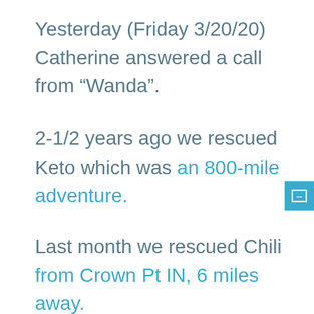Yesterday (Friday 3/20/20) Catherine answered a call from “Wanda”.
2-1/2 years ago we rescued Keto which was an 800-mile adventure.
Last month we rescued Chili from Crown Pt IN, 6 miles away.